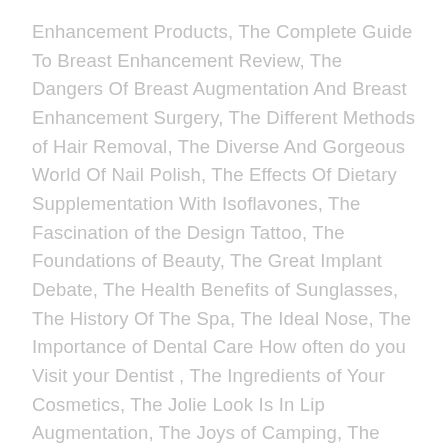Enhancement Products, The Complete Guide To Breast Enhancement Review, The Dangers Of Breast Augmentation And Breast Enhancement Surgery, The Different Methods of Hair Removal, The Diverse And Gorgeous World Of Nail Polish, The Effects Of Dietary Supplementation With Isoflavones, The Fascination of the Design Tattoo, The Foundations of Beauty, The Great Implant Debate, The Health Benefits of Sunglasses, The History Of The Spa, The Ideal Nose, The Importance of Dental Care How often do you Visit your Dentist , The Ingredients of Your Cosmetics, The Jolie Look Is In Lip Augmentation, The Joys of Camping, The Latest Fashion In Hair Styles, The Lowdown On Nail Polish Application, The Main Benefits of Endermologie, The Most Affordable Cosmetic Dentistry Procedures, The Most Commonly Performed Cosmetic Surgery Is Liposuction, The Most Effective Methods Of Treating Laser Hair Removal, The Most Important Summer Skin Care Tip, The Most Potent Forms of Aloe Vera, The Motivation for Plastic Surgery, The...